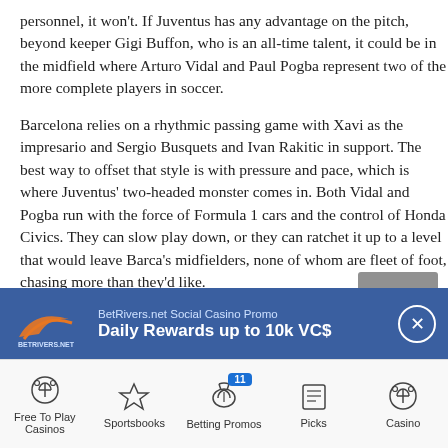personnel, it won't. If Juventus has any advantage on the pitch, beyond keeper Gigi Buffon, who is an all-time talent, it could be in the midfield where Arturo Vidal and Paul Pogba represent two of the more complete players in soccer.
Barcelona relies on a rhythmic passing game with Xavi as the impresario and Sergio Busquets and Ivan Rakitic in support. The best way to offset that style is with pressure and pace, which is where Juventus' two-headed monster comes in. Both Vidal and Pogba run with the force of Formula 1 cars and the control of Honda Civics. They can slow play down, or they can ratchet it up to a level that would leave Barca's midfielders, none of whom are fleet of foot, chasing more than they'd like.
With Claudio Marchisio as the rock between midfield and defense and the bulldoggish Carlos Tevez, a tireless worker in
[Figure (infographic): BetRivers.net Social Casino Promo banner ad. Logo on left with orange swoosh. Text: 'BetRivers.net Social Casino Promo' and 'Daily Rewards up to 10k VC$'. Close button on right.]
[Figure (infographic): Bottom navigation bar with icons: Free To Play Casinos, Sportsbooks, Betting Promos (with badge 11), Picks, Casino]